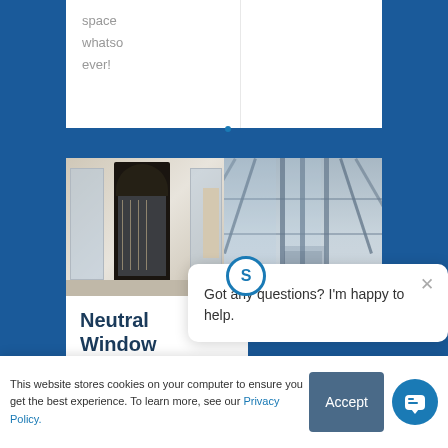space whatso ever!
[Figure (photo): Two photos side by side: left shows a storefront with a decorative black arched door and display windows; right shows a glass and steel architectural interior structure]
Neutral Window
Got any questions? I'm happy to help.
This website stores cookies on your computer to ensure you get the best experience. To learn more, see our Privacy Policy.
Accept